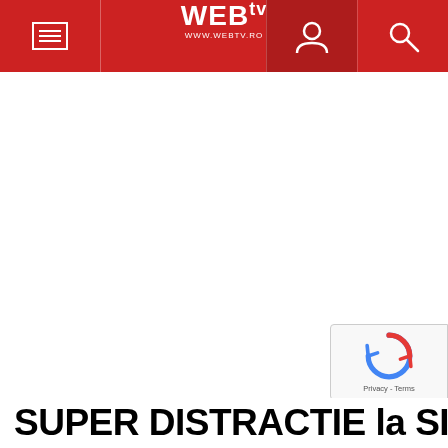WEBtv www.webtv.ro
[Figure (screenshot): White content area with faint watermark/placeholder image in center]
[Figure (other): reCAPTCHA badge with circular arrow icon and Privacy - Terms text]
SUPER DISTRACTIE la SINGURCE